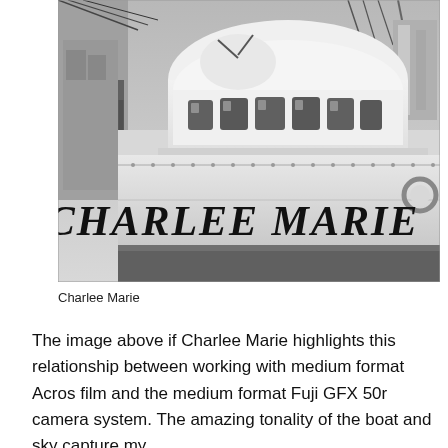[Figure (photo): Black and white photograph of the bow of a fishing/commercial vessel named 'CHARLEE MARIE'. The boat's name is displayed in large bold letters on the white hull. Above the nameplate is a rounded wheelhouse with multiple windows. Wires, rigging, and dock equipment are visible in the background.]
Charlee Marie
The image above if Charlee Marie highlights this relationship between working with medium format Acros film and the medium format Fuji GFX 50r camera system. The amazing tonality of the boat and sky capture my